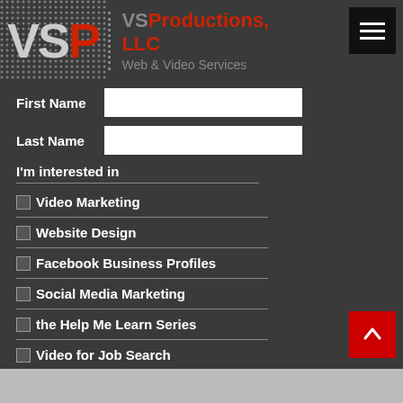VSProductions, LLC — Web & Video Services
First Name
Last Name
I'm interested in
Video Marketing
Website Design
Facebook Business Profiles
Social Media Marketing
the Help Me Learn Series
Video for Job Search
Subscribe